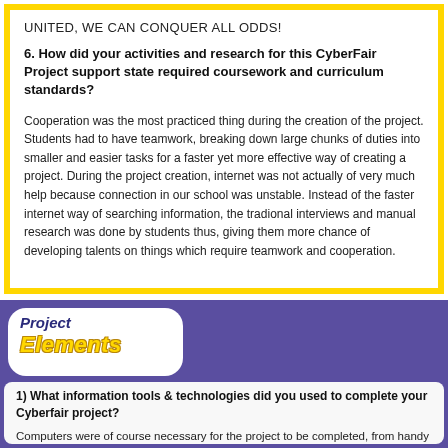UNITED, WE CAN CONQUER ALL ODDS!
6. How did your activities and research for this CyberFair Project support state required coursework and curriculum standards?
Cooperation was the most practiced thing during the creation of the project. Students had to have teamwork, breaking down large chunks of duties into smaller and easier tasks for a faster yet more effective way of creating a project. During the project creation, internet was not actually of very much help because connection in our school was unstable. Instead of the faster internet way of searching information, the tradional interviews and manual research was done by students thus, giving them more chance of developing talents on things which require teamwork and cooperation.
[Figure (logo): Project Elements badge with white rounded rectangle, blue italic 'Project' text and yellow bold italic 'Elements' text]
1) What information tools & technologies did you used to complete your CyberFair project?
Computers were of course necessary for the project to be completed, from handy laptops to bulky PCs, without which, this cyberfair project could not be done. It was the most important tool inside its complex chips and programs lies the project itself. In every